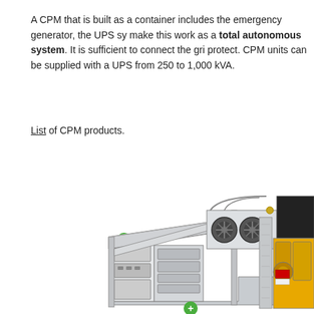A CPM that is built as a container includes the emergency generator, the UPS sy... make this work as a total autonomous system. It is sufficient to connect the gri... protect. CPM units can be supplied with a UPS from 250 to 1,000 kVA.
List of CPM products.
[Figure (engineering-diagram): 3D cutaway illustration of a CPM container system showing the internal components including UPS units, cooling fans, and a yellow emergency generator engine, all housed within a metal frame container structure.]